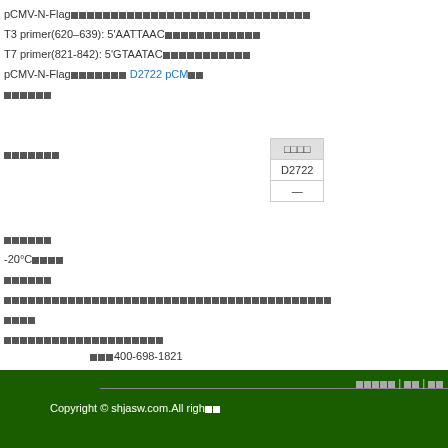pCMV-N-Flag□□□□□□□□□□□□□□□□□□□□□□□□□□□□□□
T3 primer(620–639): 5'AATTAAC…
T7 primer(821-842): 5'GTAATAC…
pCMV-N-Flag□□□□□□□ D2722 pCM…
□□□□□□
| □□□□ |
| --- |
| D2722 |
| — |
□□□□□□□
□□□□□□
-20°C□□□□
□□□□□□
□□□□□□□□□□□□□□□□□□□□□□□□□□□□□□□□□□□□□□□□□□□□□□□□□
□□□□
□□□□□□□□□□□□□□□□□□□□□□□□□□□
□□□400-698-1821
□□□□□□□
□□□□□□□□□
□□□□□ | □□ | □□  Copyright © shjasw.com.All righ…